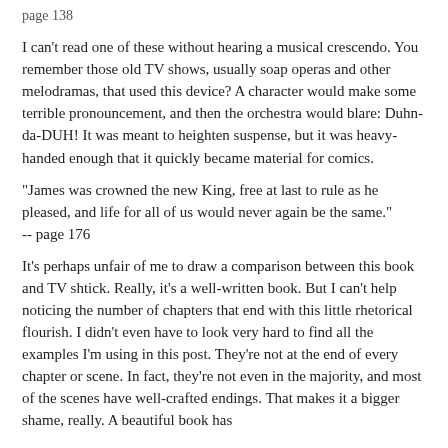page 138
I can't read one of these without hearing a musical crescendo. You remember those old TV shows, usually soap operas and other melodramas, that used this device? A character would make some terrible pronouncement, and then the orchestra would blare: Duhn-da-DUH! It was meant to heighten suspense, but it was heavy-handed enough that it quickly became material for comics.
"James was crowned the new King, free at last to rule as he pleased, and life for all of us would never again be the same."
-- page 176
It's perhaps unfair of me to draw a comparison between this book and TV shtick. Really, it's a well-written book. But I can't help noticing the number of chapters that end with this little rhetorical flourish. I didn't even have to look very hard to find all the examples I'm using in this post. They're not at the end of every chapter or scene. In fact, they're not even in the majority, and most of the scenes have well-crafted endings. That makes it a bigger shame, really. A beautiful book has